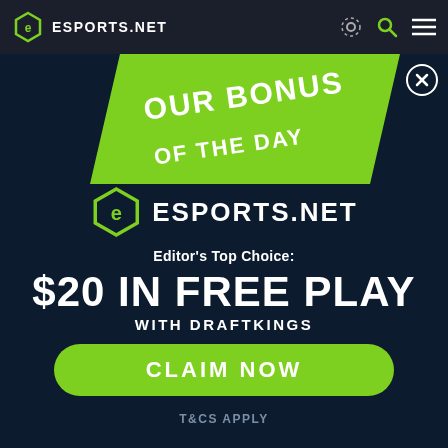ESPORTS.NET
[Figure (illustration): Diagonal ribbon banner with green section reading 'OUR BONUS' and grey section reading 'OF THE DAY' in white bold uppercase text]
[Figure (logo): Esports.net hexagon logo mark with stylized 'e' letter, followed by ESPORTS.NET text in white bold uppercase]
Editor's Top Choice:
$20 IN FREE PLAY
WITH DRAFTKINGS
CLAIM NOW
T&CS APPLY